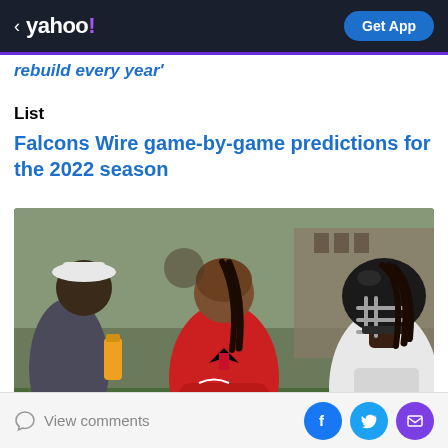< yahoo! | Get App
rebuild every year'
List
Falcons Wire game-by-game predictions for the 2022 season
[Figure (photo): Atlanta Falcons coaching staff member in red hoodie with Falcons logo, standing with arms crossed between two players at practice. Player on right wearing ATL jersey and helmet.]
View comments | Facebook | Twitter | Email